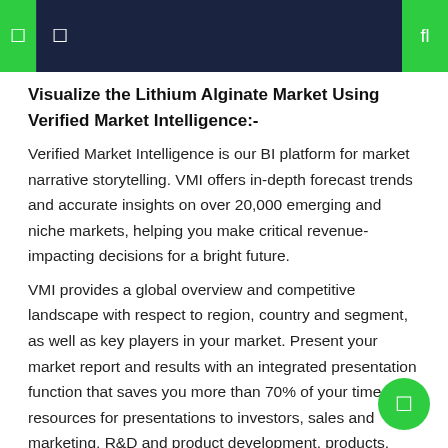☰ ☰ fl
Visualize the Lithium Alginate Market Using Verified Market Intelligence:-
Verified Market Intelligence is our BI platform for market narrative storytelling. VMI offers in-depth forecast trends and accurate insights on over 20,000 emerging and niche markets, helping you make critical revenue-impacting decisions for a bright future.
VMI provides a global overview and competitive landscape with respect to region, country and segment, as well as key players in your market. Present your market report and results with an integrated presentation function that saves you more than 70% of your time and resources for presentations to investors, sales and marketing, R&D and product development, products, VMI